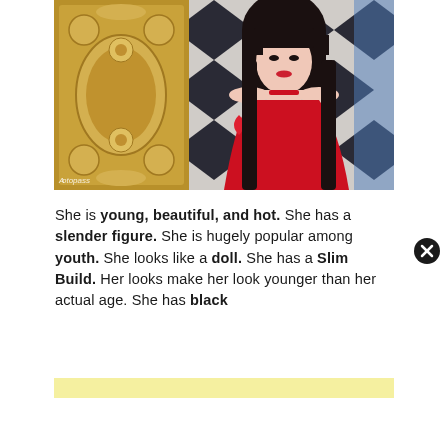[Figure (photo): Young woman with black bangs wearing a red halter/off-shoulder dress, standing next to an ornate gold-framed mirror, with a black and white diamond-patterned background. A small watermark text appears in the lower left of the photo.]
She is young, beautiful, and hot. She has a slender figure. She is hugely popular among youth. She looks like a doll. She has a Slim Build. Her looks make her look younger than her actual age. She has black
[Figure (other): Yellow highlighted bar partially obscuring text at the bottom of the page]